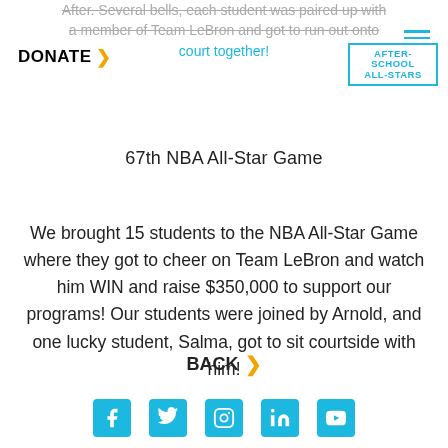After. Several bells, each student was paired up with a member of Team LeBron and got to run out onto court together!
DONATE
[Figure (logo): After-School All-Stars logo in blue text with border]
67th NBA All-Star Game
We brought 15 students to the NBA All-Star Game where they got to cheer on Team LeBron and watch him WIN and raise $350,000 to support our programs! Our students were joined by Arnold, and one lucky student, Salma, got to sit courtside with him!
BACK
[Figure (infographic): Social media icon buttons: Facebook, Twitter, Instagram, LinkedIn, YouTube]